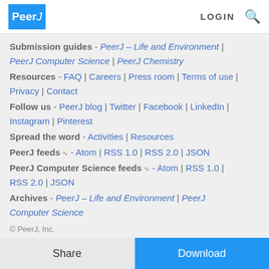PeerJ | LOGIN
Submission guides - PeerJ – Life and Environment | PeerJ Computer Science | PeerJ Chemistry
Resources - FAQ | Careers | Press room | Terms of use | Privacy | Contact
Follow us - PeerJ blog | Twitter | Facebook | LinkedIn | Instagram | Pinterest
Spread the word - Activities | Resources
PeerJ feeds ⊕ - Atom | RSS 1.0 | RSS 2.0 | JSON
PeerJ Computer Science feeds ⊕ - Atom | RSS 1.0 | RSS 2.0 | JSON
Archives - PeerJ – Life and Environment | PeerJ Computer Science
© PeerJ, Inc.
2012-2022 | Public PeerJ ISSN: 2167-8359 PeerJ Comput. Sci. ISSN:
Share | Download